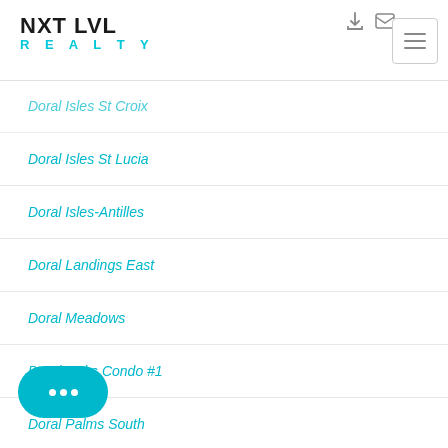NXT LVL REALTY
Doral Isles St Croix
Doral Isles St Lucia
Doral Isles-Antilles
Doral Landings East
Doral Meadows
Doral Oaks Condo #1
Doral Palms South
Doral...nds